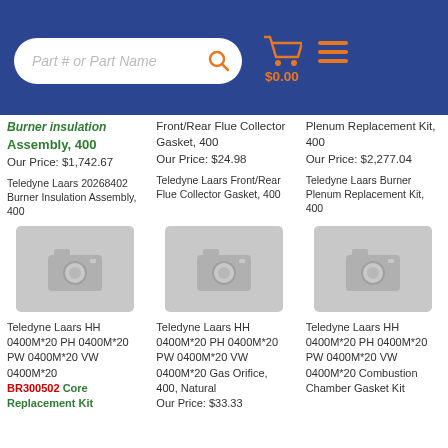[Figure (screenshot): E-commerce website header with search bar, shopping cart icon showing $0.00, and hamburger menu on blue background]
Burner Insulation Assembly, 400
Our Price: $1,742.67
Teledyne Laars 20268402 Burner Insulation Assembly, 400
Front/Rear Flue Collector Gasket, 400
Our Price: $24.98
Teledyne Laars Front/Rear Flue Collector Gasket, 400
Plenum Replacement Kit, 400
Our Price: $2,277.04
Teledyne Laars Burner Plenum Replacement Kit, 400
[Figure (photo): Placeholder no-image camera icon (grey background)]
[Figure (photo): Placeholder no-image camera icon (grey background)]
[Figure (photo): Placeholder no-image camera icon (grey background)]
Teledyne Laars HH 0400M*20 PH 0400M*20 PW 0400M*20 VW 0400M*20 BR300502 Core Replacement Kit
Teledyne Laars HH 0400M*20 PH 0400M*20 PW 0400M*20 VW 0400M*20 Gas Orifice, 400, Natural Our Price: $33.33
Teledyne Laars HH 0400M*20 PH 0400M*20 PW 0400M*20 VW 0400M*20 Combustion Chamber Gasket Kit